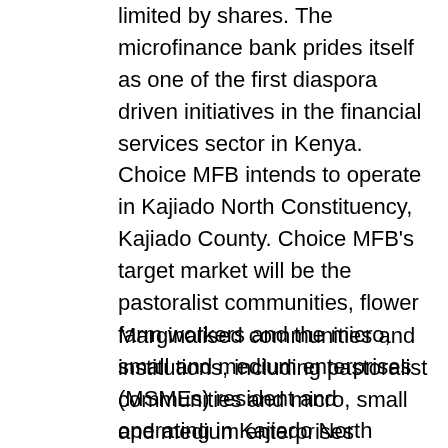limited by shares. The microfinance bank prides itself as one of the first diaspora driven initiatives in the financial services sector in Kenya. Choice MFB intends to operate in Kajiado North Constituency, Kajiado County. Choice MFB's target market will be the pastoralist communities, flower farm workers and the micro, small and medium enterprises (MSMEs) resident and operating in Kajiado North Constituency. The microfinance bank shall also target the non-governmental organizations (NGOs) and higher learning institutions within its administrative operational area.
Marginalised communities and institutions, including pastoralist communities and micro, small and medium enterprises (MSMEs) respectively, still represent a large percentage of the unbanked population in Kenya. Improved access to financial services